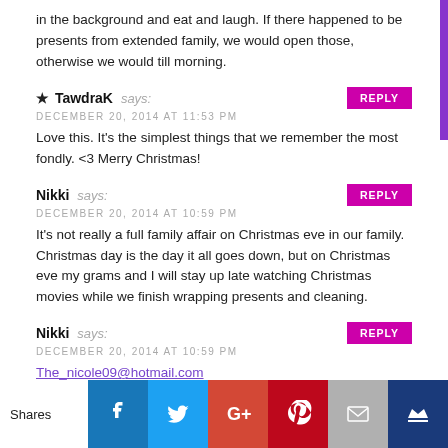in the background and eat and laugh. If there happened to be presents from extended family, we would open those, otherwise we would till morning.
TawdraK says: DECEMBER 20, 2014 AT 11:53 PM
Love this. It's the simplest things that we remember the most fondly. <3 Merry Christmas!
Nikki says: DECEMBER 20, 2014 AT 10:59 PM
It's not really a full family affair on Christmas eve in our family. Christmas day is the day it all goes down, but on Christmas eve my grams and I will stay up late watching Christmas movies while we finish wrapping presents and cleaning.
Nikki says: DECEMBER 20, 2014 AT 10:59 PM
The_nicole09@hotmail.com
[Figure (infographic): Social sharing bar with Facebook, Twitter, Google+, Pinterest, Email, and Crown icons. Shows 'Shares' label on the left.]